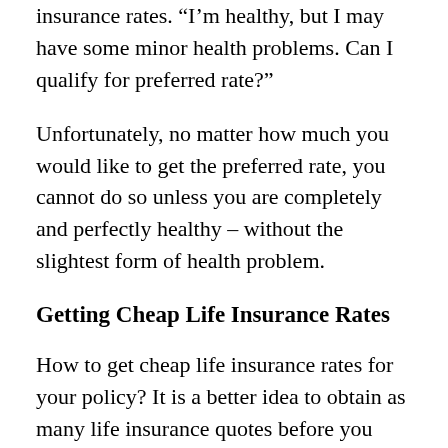insurance rates.  “I’m healthy, but I may have some minor health problems.  Can I qualify for preferred rate?”
Unfortunately, no matter how much you would like to get the preferred rate, you cannot do so unless you are completely and perfectly healthy – without the slightest form of health problem.
Getting Cheap Life Insurance Rates
How to get cheap life insurance rates for your policy? It is a better idea to obtain as many life insurance quotes before you apply for a policy, because the premiums can vary according to the provider. For this, shop around in banks or